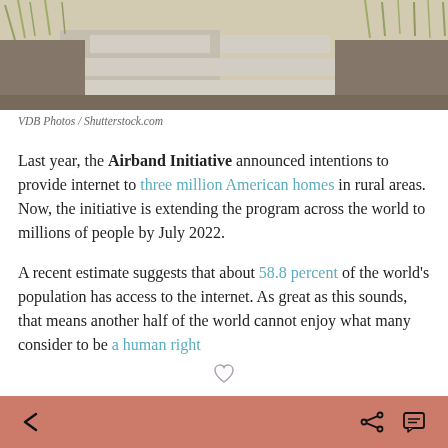[Figure (photo): Outdoor walkway with stone pavers, ornamental grasses and plants alongside, natural garden setting]
VDB Photos / Shutterstock.com
Last year, the Airband Initiative announced intentions to provide internet to three million American homes in rural areas. Now, the initiative is extending the program across the world to millions of people by July 2022.
A recent estimate suggests that about 58.8 percent of the world's population has access to the internet. As great as this sounds, that means another half of the world cannot enjoy what many consider to be a human right
< share comment